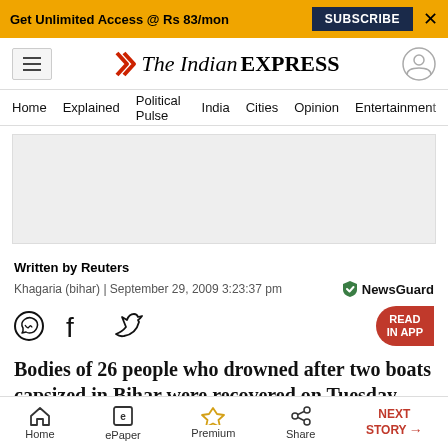Get Unlimited Access @ Rs 83/mon  SUBSCRIBE  X
The Indian EXPRESS
Home  Explained  Political Pulse  India  Cities  Opinion  Entertainment
[Figure (other): Advertisement placeholder rectangle]
Written by Reuters
Khagaria (bihar) | September 29, 2009 3:23:37 pm
[Figure (logo): NewsGuard badge with shield icon]
[Figure (other): Social share icons: WhatsApp, Facebook, Twitter; READ IN APP button]
Bodies of 26 people who drowned after two boats capsized in Bihar were recovered on Tuesday even
Home  ePaper  Premium  Share  NEXT STORY